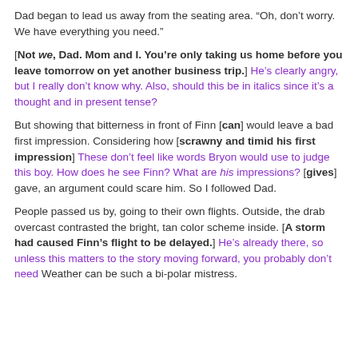Dad began to lead us away from the seating area. “Oh, don’t worry. We have everything you need.”
[Not we, Dad. Mom and I. You’re only taking us home before you leave tomorrow on yet another business trip.] He’s clearly angry, but I really don’t know why. Also, should this be in italics since it’s a thought and in present tense?
But showing that bitterness in front of Finn [can] would leave a bad first impression. Considering how [scrawny and timid his first impression] These don’t feel like words Bryon would use to judge this boy. How does he see Finn? What are his impressions? [gives] gave, an argument could scare him. So I followed Dad.
People passed us by, going to their own flights. Outside, the drab overcast contrasted the bright, tan color scheme inside. [A storm had caused Finn’s flight to be delayed.] He’s already there, so unless this matters to the story moving forward, you probably don’t need Weather can be such a bi-polar mistress.